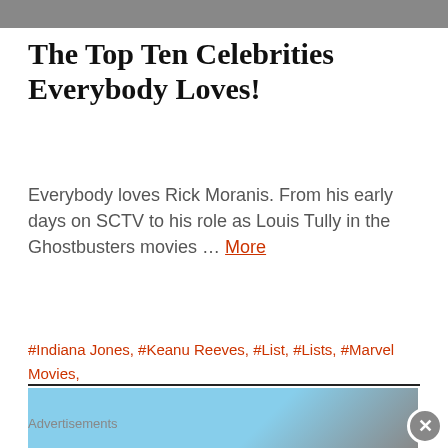[Figure (photo): Top portion of a photo, partially cropped, showing a person]
The Top Ten Celebrities Everybody Loves!
Everybody loves Rick Moranis. From his early days on SCTV to his role as Louis Tully in the Ghostbusters movies … More
#Indiana Jones, #Keanu Reeves, #List, #Lists, #Marvel Movies, #Movie, #movies, #sci-fi movies, #Star Trek, #star wars movies
[Figure (photo): Bottom advertisement image showing a blue sky and structural elements]
Advertisements